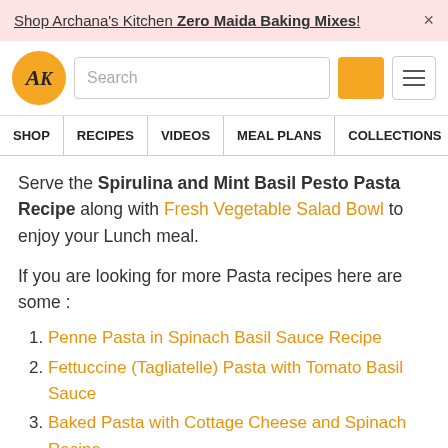Shop Archana's Kitchen Zero Maida Baking Mixes! ×
[Figure (logo): Archana's Kitchen logo - golden circle with AK initials, search bar, orange search button, hamburger menu]
SHOP | RECIPES | VIDEOS | MEAL PLANS | COLLECTIONS | ART
Serve the Spirulina and Mint Basil Pesto Pasta Recipe along with Fresh Vegetable Salad Bowl to enjoy your Lunch meal.
If you are looking for more Pasta recipes here are some :
1. Penne Pasta in Spinach Basil Sauce Recipe
2. Fettuccine (Tagliatelle) Pasta with Tomato Basil Sauce
3. Baked Pasta with Cottage Cheese and Spinach Recipe